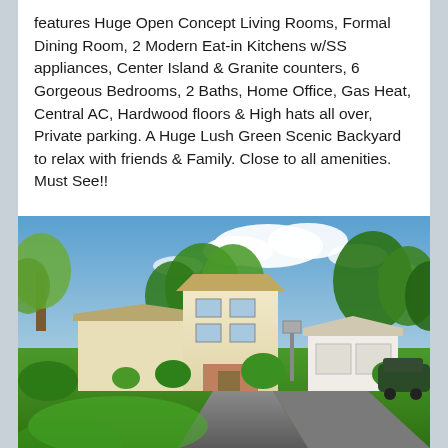features Huge Open Concept Living Rooms, Formal Dining Room, 2 Modern Eat-in Kitchens w/SS appliances, Center Island & Granite counters, 6 Gorgeous Bedrooms, 2 Baths, Home Office, Gas Heat, Central AC, Hardwood floors & High hats all over, Private parking. A Huge Lush Green Scenic Backyard to relax with friends & Family. Close to all amenities. Must See!!
[Figure (photo): Exterior photo of a suburban two-story house with cream/beige siding, brick accents, lush green lawn, trees, blue sky with clouds, and a driveway.]